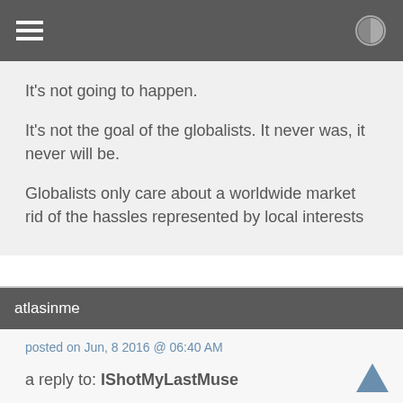It's not going to happen.

It's not the goal of the globalists. It never was, it never will be.

Globalists only care about a worldwide market rid of the hassles represented by local interests
atlasinme
posted on Jun, 8 2016 @ 06:40 AM
a reply to: IShotMyLastMuse
Coming from a Sri Lankan background but raised in a predominantly white community, I feel comfortable with any and every ethnicity - I don't gravitate towards 'my own'